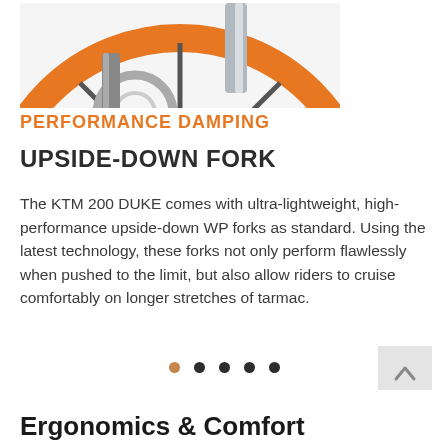[Figure (photo): Close-up of orange KTM motorcycle wheel with brake disc and fork, partially visible at top of page]
PERFORMANCE DAMPING
UPSIDE-DOWN FORK
The KTM 200 DUKE comes with ultra-lightweight, high-performance upside-down WP forks as standard. Using the latest technology, these forks not only perform flawlessly when pushed to the limit, but also allow riders to cruise comfortably on longer stretches of tarmac.
[Figure (other): Scroll-to-top arrow button (upward chevron) in light grey square]
[Figure (other): Navigation dots row: first dot active (tan/orange), four dots dark grey]
Ergonomics & Comfort